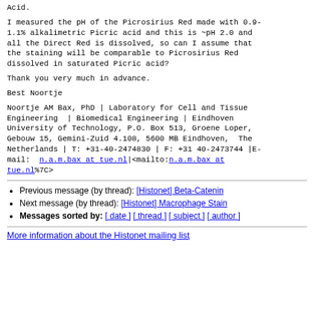Acid.
I measured the pH of the Picrosirius Red made with 0.9-1.1% alkalimetric Picric acid and this is ~pH 2.0 and all the Direct Red is dissolved, so can I assume that the staining will be comparable to Picrosirius Red dissolved in saturated Picric acid?
Thank you very much in advance.
Best Noortje
Noortje AM Bax, PhD | Laboratory for Cell and Tissue Engineering  | Biomedical Engineering | Eindhoven University of Technology, P.O. Box 513, Groene Loper, Gebouw 15, Gemini-Zuid 4.108, 5600 MB Eindhoven,  The Netherlands | T: +31-40-2474830 | F: +31 40-2473744 |E-mail: n.a.m.bax at tue.nl|<mailto:n.a.m.bax at tue.nl%7C>
Previous message (by thread): [Histonet] Beta-Catenin
Next message (by thread): [Histonet] Macrophage Stain
Messages sorted by: [ date ] [ thread ] [ subject ] [ author ]
More information about the Histonet mailing list